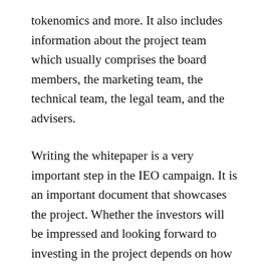tokenomics and more. It also includes information about the project team which usually comprises the board members, the marketing team, the technical team, the legal team, and the advisers.
Writing the whitepaper is a very important step in the IEO campaign. It is an important document that showcases the project. Whether the investors will be impressed and looking forward to investing in the project depends on how well the paper is written.